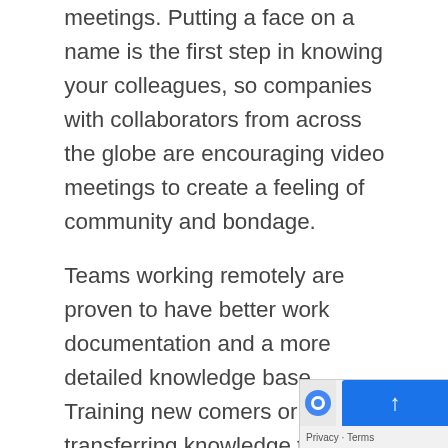meetings. Putting a face on a name is the first step in knowing your colleagues, so companies with collaborators from across the globe are encouraging video meetings to create a feeling of community and bondage.
Teams working remotely are proven to have better work documentation and a more detailed knowledge base. Training new comers or transferring knowledge to them is easier and more efficient, thus saving valuable time and money.
The secret behind a successful international team is good project